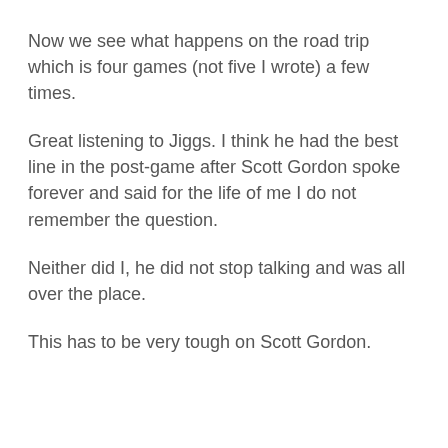Now we see what happens on the road trip which is four games (not five I wrote) a few times.
Great listening to Jiggs. I think he had the best line in the post-game after Scott Gordon spoke forever and said for the life of me I do not remember the question.
Neither did I, he did not stop talking and was all over the place.
This has to be very tough on Scott Gordon.